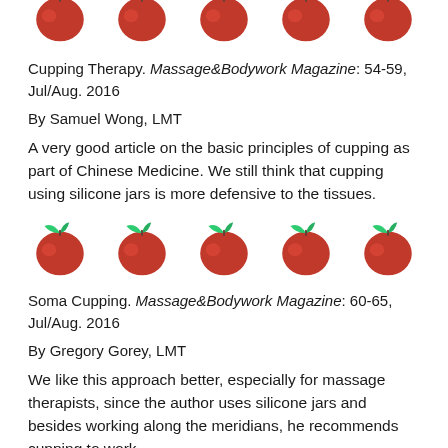[Figure (illustration): Row of red apple emoji icons at the top of the page (partially cropped)]
Cupping Therapy. Massage&Bodywork Magazine: 54-59, Jul/Aug. 2016
By Samuel Wong, LMT
A very good article on the basic principles of cupping as part of Chinese Medicine. We still think that cupping using silicone jars is more defensive to the tissues.
[Figure (illustration): Row of five red apple emoji icons]
Soma Cupping. Massage&Bodywork Magazine: 60-65, Jul/Aug. 2016
By Gregory Gorey, LMT
We like this approach better, especially for massage therapists, since the author uses silicone jars and besides working along the meridians, he recommends cupping to work